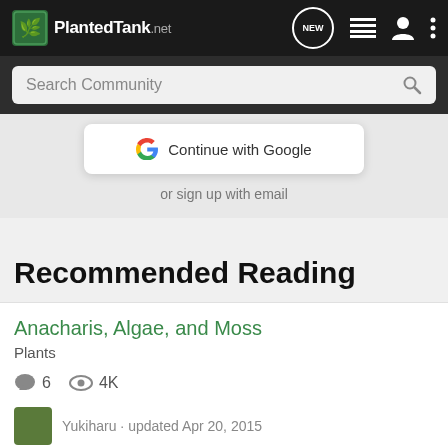[Figure (screenshot): PlantedTank.net website header navigation bar with logo, NEW message icon, list icon, user icon, and more options icon]
[Figure (screenshot): Search Community bar with search icon]
[Figure (screenshot): Continue with Google button popup and 'or sign up with email' text]
Recommended Reading
Anacharis, Algae, and Moss
Plants
6 comments, 4K views
Yukiharu · updated Apr 20, 2015